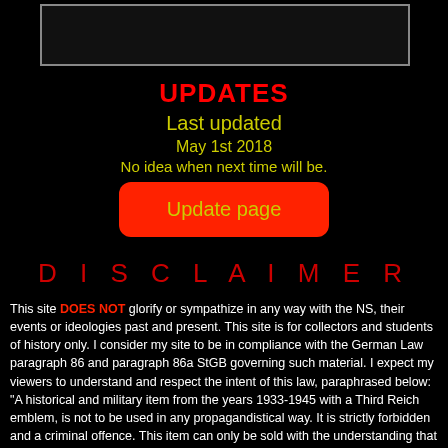[Figure (other): Empty bordered box at top of page]
UPDATES
Last updated
May 1st 2018
No idea when next time will be.
[Figure (other): Red button labeled 'Update page']
D I S C L A I M E R
This site DOES NOT glorify or sympathize in any way with the NS, their events or ideologies past and present.  This site is for collectors and students of history only.  I consider my site to be in compliance with the German Law paragraph 86 and paragraph 86a StGB governing such material.  I expect my viewers to understand and respect the intent of this law, paraphrased below:
"A historical and military item from the years 1933-1945 with a Third Reich emblem, is not to be used in any propagandistical way. It is strictly forbidden and a criminal offence. This item can only be sold with the understanding that it will be used for educational intention, historical research or to report about the happenings of the NS-time." I reserve the right not to sell any material from my "For sale" page to anyone, if I believe the item(s) will not be used within the actual intent or spirit of the German Law.